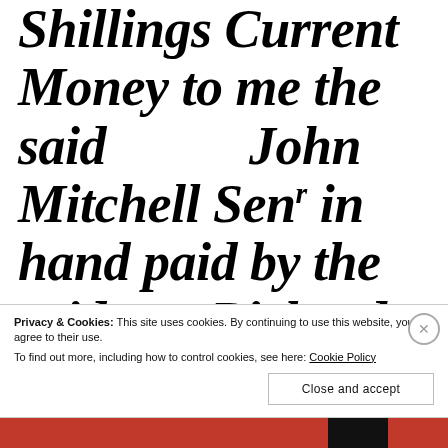Shillings Current Money to me the said John Mitchell Senʳ in hand paid by the said Richard Mitchell and Levin Mitchell at or upon the Sealing and
Privacy & Cookies: This site uses cookies. By continuing to use this website, you agree to their use. To find out more, including how to control cookies, see here: Cookie Policy
Close and accept